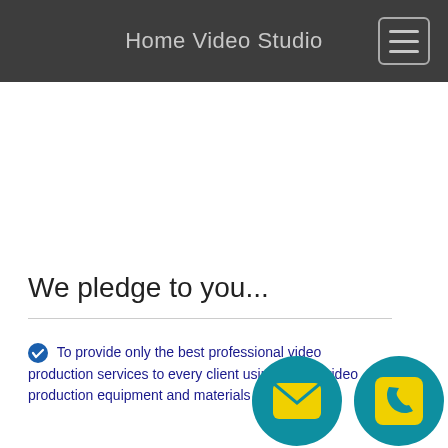Home Video Studio
We pledge to you...
To provide only the best professional video production services to every client using quality video production equipment and materials
[Figure (illustration): Two floating action buttons: an email icon (envelope) and a phone icon, both with yellow icons on teal circular backgrounds]